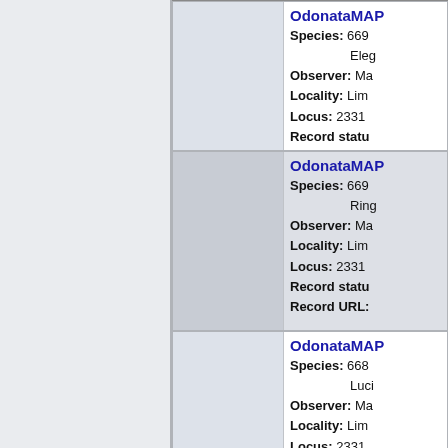OdonataMAP | Species: 6699 Eleg... | Observer: Ma... | Locality: Lim... | Locus: 2331... | Record status: | Record URL:
OdonataMAP | Species: 6699 Ring... | Observer: Ma... | Locality: Lim... | Locus: 2331... | Record status: | Record URL:
OdonataMAP | Species: 6688 Luci... | Observer: Ma... | Locality: Lim... | Locus: 2331... | Record status: | Record URL: